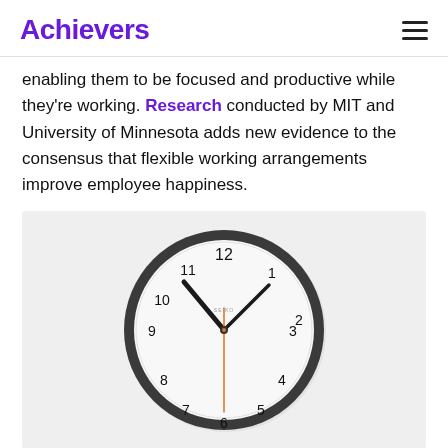Achievers
enabling them to be focused and productive while they're working. Research conducted by MIT and University of Minnesota adds new evidence to the consensus that flexible working arrangements improve employee happiness.
[Figure (photo): A round wall clock with a white face and dark gray border, showing the time approximately 10:10. The clock has black hour and minute hands and an orange second hand, with standard numerals 1–12.]